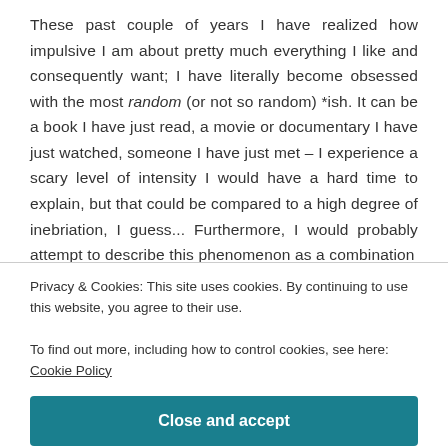These past couple of years I have realized how impulsive I am about pretty much everything I like and consequently want; I have literally become obsessed with the most random (or not so random) *ish. It can be a book I have just read, a movie or documentary I have just watched, someone I have just met – I experience a scary level of intensity I would have a hard time to explain, but that could be compared to a high degree of inebriation, I guess... Furthermore, I would probably attempt to describe this phenomenon as a combination
Privacy & Cookies: This site uses cookies. By continuing to use this website, you agree to their use.
To find out more, including how to control cookies, see here: Cookie Policy
Close and accept